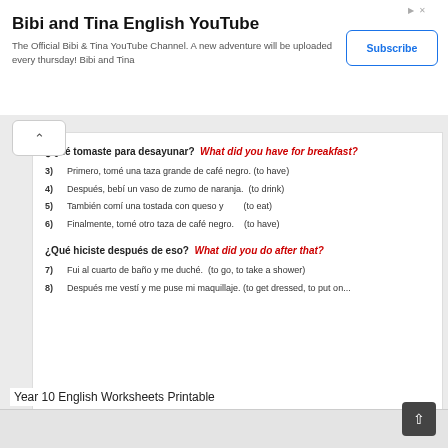[Figure (screenshot): YouTube advertisement banner for 'Bibi and Tina English YouTube' channel with Subscribe button]
Bibi and Tina English YouTube
The Official Bibi & Tina YouTube Channel. A new adventure will be uploaded every thursday! Bibi and Tina
[Figure (screenshot): Spanish language worksheet screenshot showing breakfast and morning routine questions with numbered fill-in exercises]
¿Qué tomaste para desayunar? What did you have for breakfast?
3) Primero, tomé una taza grande de café negro. (to have)
4) Después, bebí un vaso de zumo de naranja. (to drink)
5) También comí una tostada con queso y (to eat)
6) Finalmente, tomé otro taza de café negro. (to have)
¿Qué hiciste después de eso? What did you do after that?
7) Fui al cuarto de baño y me duché. (to go, to take a shower)
8) Después me vestí y me puse mi maquillaje. (to get dressed, to put on...
Year 10 English Worksheets Printable